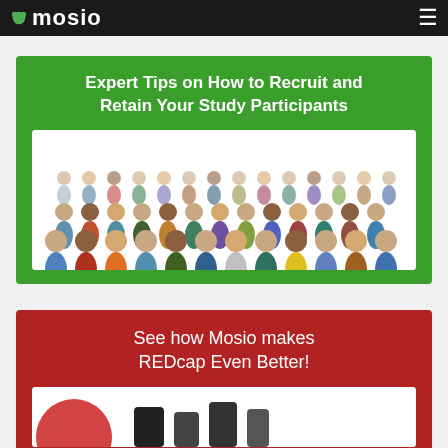mosio
[Figure (illustration): Green card with title 'Expert Tips on How to Recruit and Retain Your Study Participants' and a crowd of diverse people]
Expert Tips on How to Recruit and Retain Your Study Participants
[Figure (photo): Large diverse crowd of people standing together on white background]
[Figure (illustration): Red card with text 'See how Mosio makes REDcap Even Better!' and partial image below]
See how Mosio makes REDcap Even Better!